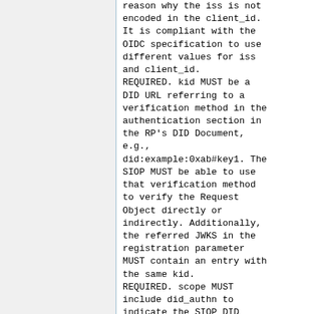reason why the iss is not encoded in the client_id. It is compliant with the OIDC specification to use different values for iss and client_id. REQUIRED. kid MUST be a DID URL referring to a verification method in the authentication section in the RP's DID Document, e.g., did:example:0xab#key1. The SIOP MUST be able to use that verification method to verify the Request Object directly or indirectly. Additionally, the referred JWKS in the registration parameter MUST contain an entry with the same kid. REQUIRED. scope MUST include did_authn to indicate the SIOP DID profile is used.